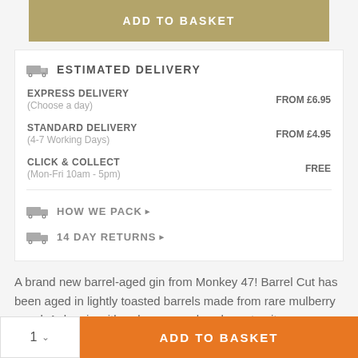ADD TO BASKET
ESTIMATED DELIVERY
EXPRESS DELIVERY
(Choose a day)	FROM £6.95
STANDARD DELIVERY
(4-7 Working Days)	FROM £4.95
CLICK & COLLECT
(Mon-Fri 10am - 5pm)	FREE
HOW WE PACK ▶
14 DAY RETURNS ▶
A brand new barrel-aged gin from Monkey 47! Barrel Cut has been aged in lightly toasted barrels made from rare mulberry wood. A dry gin with a deep, complex character, it
1 ∨	ADD TO BASKET